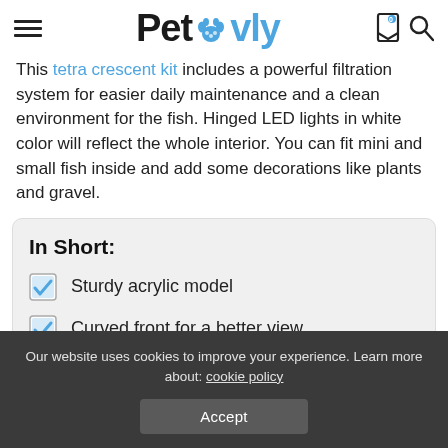Petovly
This tetra crescent kit includes a powerful filtration system for easier daily maintenance and a clean environment for the fish. Hinged LED lights in white color will reflect the whole interior. You can fit mini and small fish inside and add some decorations like plants and gravel.
In Short:
Sturdy acrylic model
Curved front for a better view
Suitable for small fishes
Our website uses cookies to improve your experience. Learn more about: cookie policy